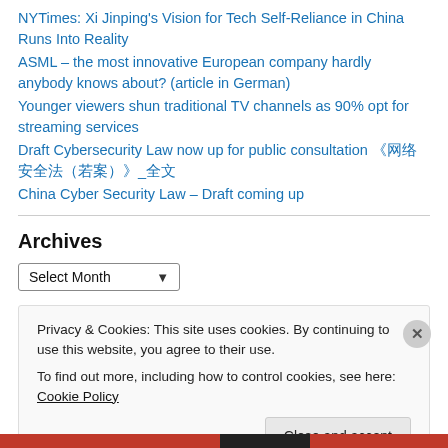NYTimes: Xi Jinping's Vision for Tech Self-Reliance in China Runs Into Reality
ASML – the most innovative European company hardly anybody knows about? (article in German)
Younger viewers shun traditional TV channels as 90% opt for streaming services
Draft Cybersecurity Law now up for public consultation 《网络安全法（草案）》_全文
China Cyber Security Law – Draft coming up
Archives
Select Month
Privacy & Cookies: This site uses cookies. By continuing to use this website, you agree to their use.
To find out more, including how to control cookies, see here: Cookie Policy
Close and accept